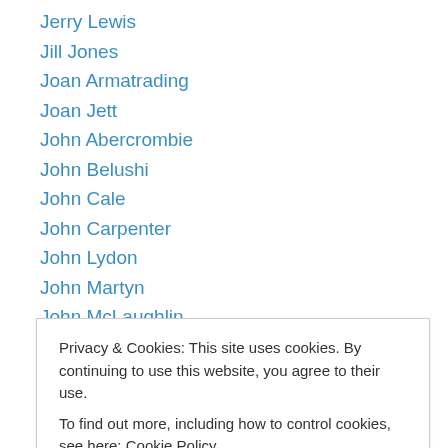Jerry Lewis
Jill Jones
Joan Armatrading
Joan Jett
John Abercrombie
John Belushi
John Cale
John Carpenter
John Lydon
John Martyn
John McLaughlin
John Scofield
Johnny Guitar Watson
Privacy & Cookies: This site uses cookies. By continuing to use this website, you agree to their use. To find out more, including how to control cookies, see here: Cookie Policy
Killing Joke (partial)